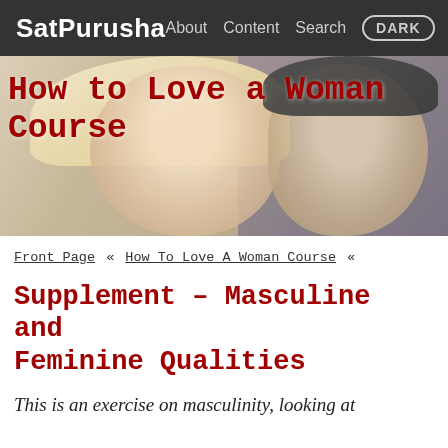SatPurusha   About Content Search DARK
[Figure (photo): Hero banner image showing two people (a blonde woman and a close-cropped person) close together, with red overlay title text 'How to Love a Woman Course']
How to Love a Woman Course
Front Page « How To Love A Woman Course «
Supplement – Masculine and Feminine Qualities
This is an exercise on masculinity, looking at